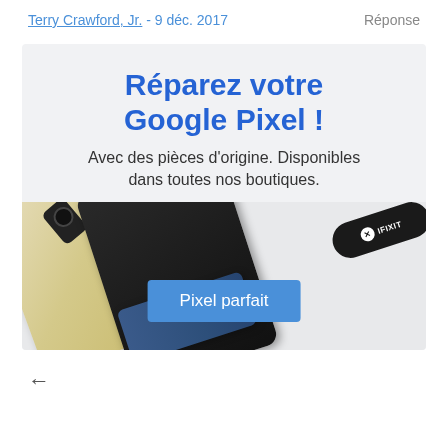Terry Crawford, Jr. - 9 déc. 2017   Réponse
[Figure (infographic): iFixit promotional ad card with light grey background. Large blue bold text reads 'Réparez votre Google Pixel !' followed by subtitle 'Avec des pièces d'origine. Disponibles dans toutes nos boutiques.' Below is an image of disassembled Google Pixel phone parts including back cover, camera module, screen, battery, screwdriver, and an iFixit tool. A blue button labeled 'Pixel parfait' overlays the bottom of the image.]
←